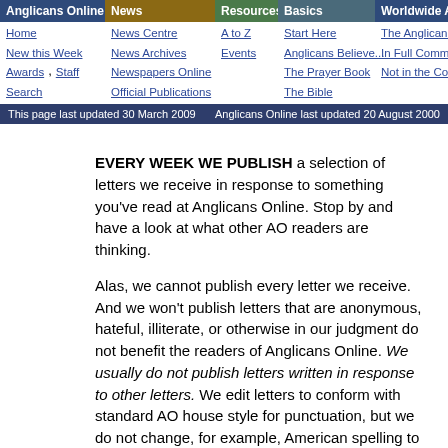Anglicans Online | News | Resources | Basics | Worldwide Anglican
This page last updated 30 March 2009    Anglicans Online last updated 20 August 2000
EVERY WEEK WE PUBLISH a selection of letters we receive in response to something you've read at Anglicans Online. Stop by and have a look at what other AO readers are thinking.
Alas, we cannot publish every letter we receive. And we won't publish letters that are anonymous, hateful, illiterate, or otherwise in our judgment do not benefit the readers of Anglicans Online. We usually do not publish letters written in response to other letters. We edit letters to conform with standard AO house style for punctuation, but we do not change, for example, American spelling to conform to Canadian orthography. On occasion we'll gently edit letters that are too verbose in their original form. Email